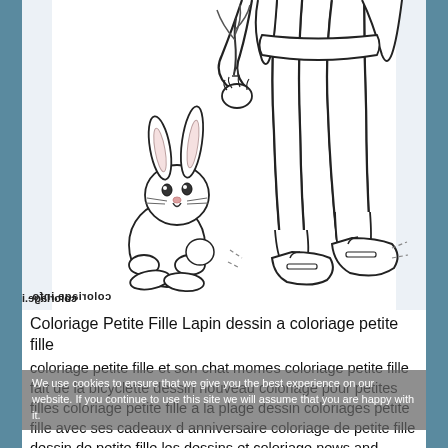[Figure (illustration): Line drawing coloring page showing a cute cartoon rabbit sitting upright looking up, next to the legs and shoes of a child/girl figure who appears to be leaning down with a carrot. The image is black and white outline art intended for coloring.]
coloriage.info (mirrored watermark)
Coloriage Petite Fille Lapin dessin a coloriage petite fille
coloriage petite fille et son chat momes coloriage petite fille fait de la bicyclette dessin nouveau coloriage pour petites filles coloriage petite fille a la plage dessin coloriages petite fille avec ses cadeaux d anniversaire coloriage de petite fille dessin de petite fille les dessins et coloriage news and entertainment fille dessin jan 05 2013 23 31 07 dessin a
We use cookies to ensure that we give you the best experience on our website. If you continue to use this site we will assume that you are happy with it.